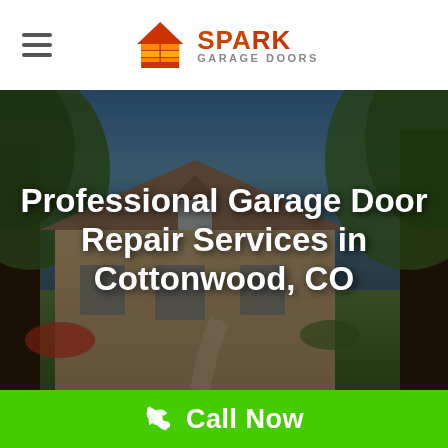[Figure (logo): Spark Garage Doors logo — house icon with orange/red garage door panels, text SPARK in orange with a snowflake/star on the A, GARAGE DOORS in smaller text below]
[Figure (photo): Background photo of a residential home with large trees, stone/brick exterior, green lawn, blue sky; used as hero image]
Professional Garage Door Repair Services in Cottonwood, CO
Call Now